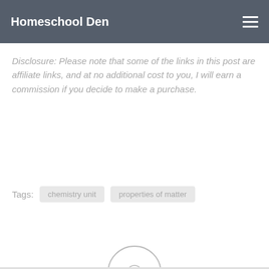Homeschool Den
Disclosure: Please note that some of the links in this post are affiliate links, and at no additional cost to you, I will earn a commission if you decide to make a purchase.
Tags:  chemistry unit   properties of matter
[Figure (other): Avatar placeholder circle with smaller inner circle]
LEAVE A REPLY